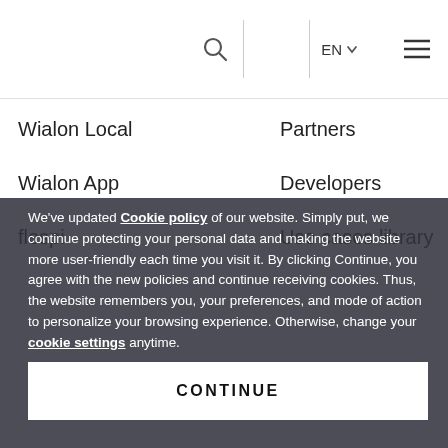[Figure (logo): Gurtam/Wialon logo — two diamond shapes in blue and red]
Q  EN ▾  ≡
Wialon Local
Partners
Wialon App
Developers
flespi
Use cases library
We've updated Cookie policy of our website. Simply put, we continue protecting your personal data and making the website more user-friendly each time you visit it. By clicking Continue, you agree with the new policies and continue receiving cookies. Thus, the website remembers you, your preferences, and mode of action to personalize your browsing experience. Otherwise, change your cookie settings anytime.
CONTINUE